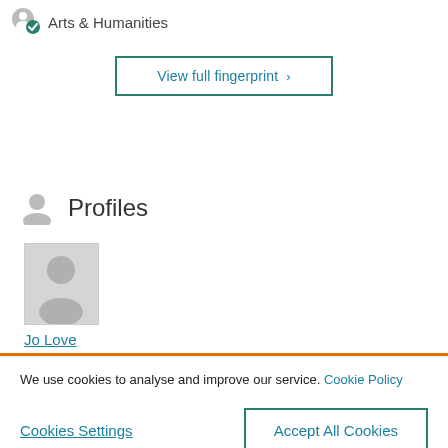Arts & Humanities
View full fingerprint ›
Profiles
[Figure (photo): Placeholder person photo thumbnail for Jo Love]
Jo Love
We use cookies to analyse and improve our service. Cookie Policy
Cookies Settings
Accept All Cookies